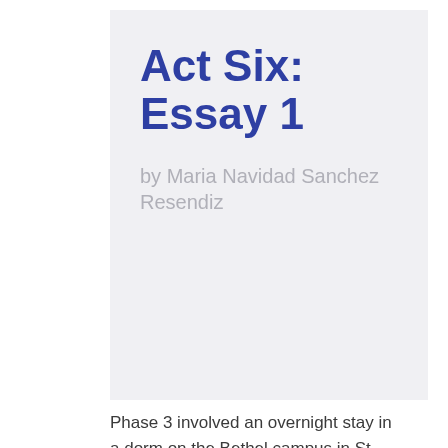Act Six: Essay 1
by Maria Navidad Sanchez Resendiz
Phase 3 involved an overnight stay in a dorm on the Bethel campus in St. Paul. Maria related that she took part in a